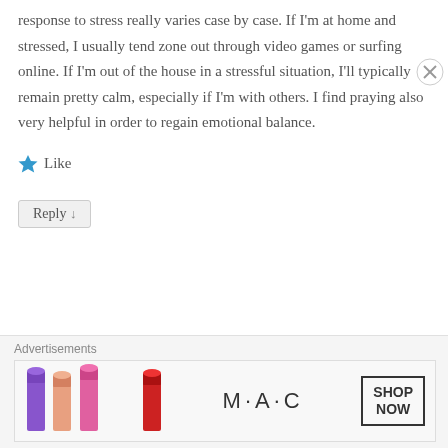response to stress really varies case by case. If I'm at home and stressed, I usually tend zone out through video games or surfing online. If I'm out of the house in a stressful situation, I'll typically remain pretty calm, especially if I'm with others. I find praying also very helpful in order to regain emotional balance.
Like
Reply ↓
Mabel Kwong on 22 July 2014 at 10:43 PM said:
[Figure (photo): Advertisement banner for MAC cosmetics showing lipsticks with SHOP NOW text]